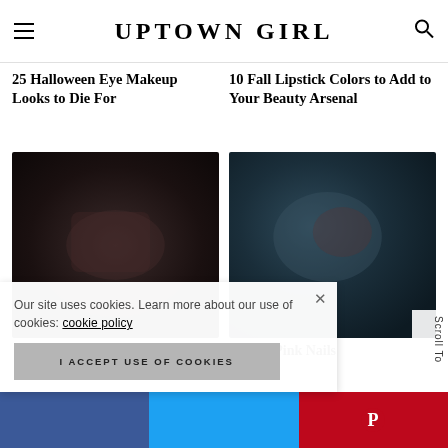UPTOWN GIRL
25 Halloween Eye Makeup Looks to Die For
10 Fall Lipstick Colors to Add to Your Beauty Arsenal
[Figure (photo): Dark blurry photo related to Halloween eye makeup]
[Figure (photo): Dark teal blurry photo related to fall lipstick colors]
Awesome Pink Nails
Our site uses cookies. Learn more about our use of cookies: cookie policy
I ACCEPT USE OF COOKIES